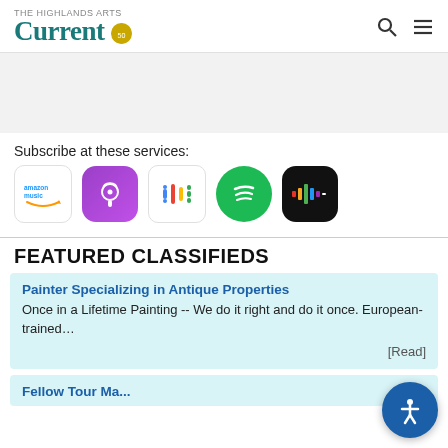The Highlands Current
[Figure (other): Gray advertisement placeholder banner]
Subscribe at these services:
[Figure (logo): Podcast service icons: Amazon Music, Apple Podcasts, Google Podcasts, Spotify, Stitcher]
FEATURED CLASSIFIEDS
Painter Specializing in Antique Properties
Once in a Lifetime Painting -- We do it right and do it once. European-trained… [Read]
Fellow Tour Ma...